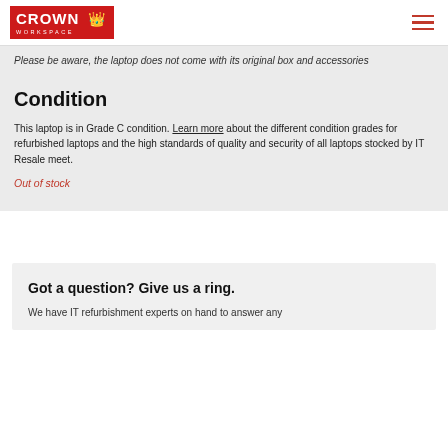Crown Workspace
Please be aware, the laptop does not come with its original box and accessories
Condition
This laptop is in Grade C condition. Learn more about the different condition grades for refurbished laptops and the high standards of quality and security of all laptops stocked by IT Resale meet.
Out of stock
Got a question? Give us a ring.
We have IT refurbishment experts on hand to answer any